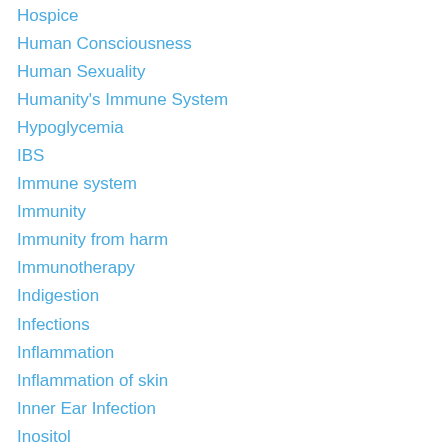Hospice
Human Consciousness
Human Sexuality
Humanity's Immune System
Hypoglycemia
IBS
Immune system
Immunity
Immunity from harm
Immunotherapy
Indigestion
Infections
Inflammation
Inflammation of skin
Inner Ear Infection
Inositol
Intuition
Iodine and Radiation Fallout
Iodine loading
Juvenile Obesity